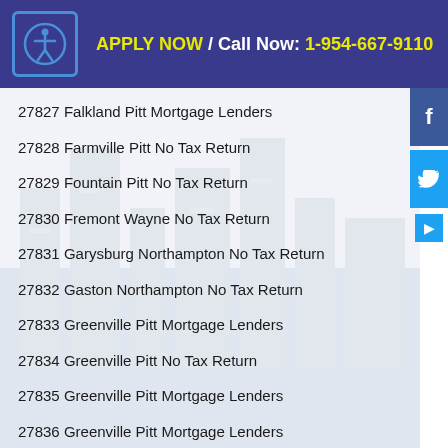APPLY NOW / Call Now: 1-954-667-9110
27827 Falkland Pitt Mortgage Lenders
27828 Farmville Pitt No Tax Return
27829 Fountain Pitt No Tax Return
27830 Fremont Wayne No Tax Return
27831 Garysburg Northampton No Tax Return
27832 Gaston Northampton No Tax Return
27833 Greenville Pitt Mortgage Lenders
27834 Greenville Pitt No Tax Return
27835 Greenville Pitt Mortgage Lenders
27836 Greenville Pitt Mortgage Lenders
27837 Grimesland Pitt No Tax Return